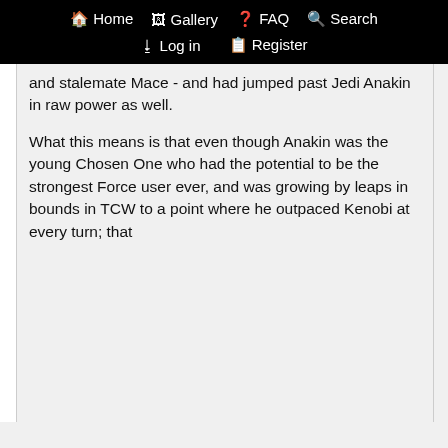Home  Gallery  FAQ  Search  Log in  Register
and stalemate Mace - and had jumped past Jedi Anakin in raw power as well.
What this means is that even though Anakin was the young Chosen One who had the potential to be the strongest Force user ever, and was growing by leaps in bounds in TCW to a point where he outpaced Kenobi at every turn; that